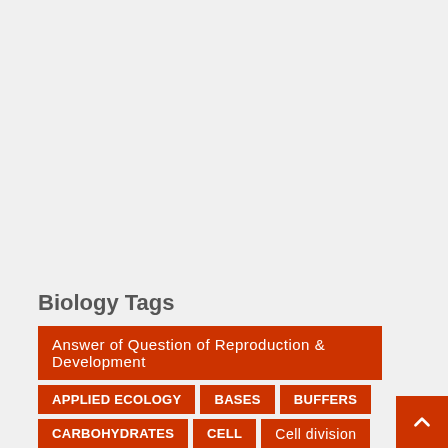Biology Tags
Answer of Question of Reproduction & Development
APPLIED ECOLOGY
BASES
BUFFERS
CARBOHYDRATES
CELL
Cell division
Classification